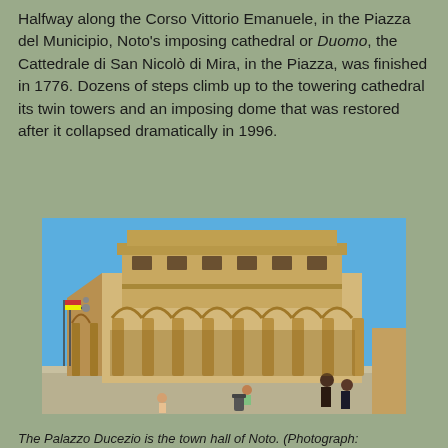Halfway along the Corso Vittorio Emanuele, in the Piazza del Municipio, Noto's imposing cathedral or Duomo, the Cattedrale di San Nicolò di Mira, in the Piazza, was finished in 1776. Dozens of steps climb up to the towering cathedral its twin towers and an imposing dome that was restored after it collapsed dramatically in 1996.
[Figure (photo): Photograph of the Palazzo Ducezio, the town hall of Noto, showing a grand Baroque building with arched colonnades, ornate facade, balustrades, and twin towers under a clear blue sky. People are visible in the foreground piazza.]
The Palazzo Ducezio is the town hall of Noto. (Photograph: